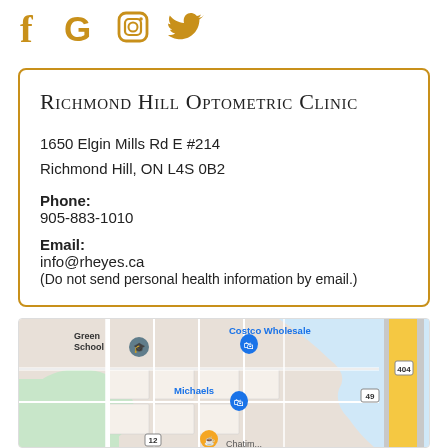[Figure (infographic): Social media icons: Facebook (f), Google (G), Instagram (camera), Twitter (bird) in gold/amber color]
Richmond Hill Optometric Clinic
1650 Elgin Mills Rd E #214
Richmond Hill, ON L4S 0B2
Phone:
905-883-1010
Email:
info@rheyes.ca
(Do not send personal health information by email.)
[Figure (map): Google Maps screenshot showing location near Costco Wholesale, Michaels, Green School, with highway 404 visible]